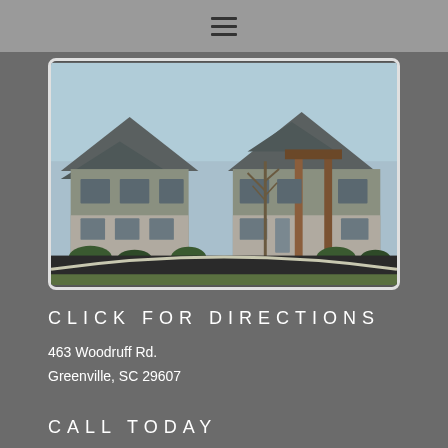☰ (hamburger menu icon)
[Figure (photo): Exterior photograph of a commercial building with craftsman-style architecture, stone and siding facade, dark roof, wooden accent columns at entrance, parking lot in foreground, bare tree visible, blue sky background.]
CLICK FOR DIRECTIONS
463 Woodruff Rd.
Greenville, SC 29607
CALL TODAY